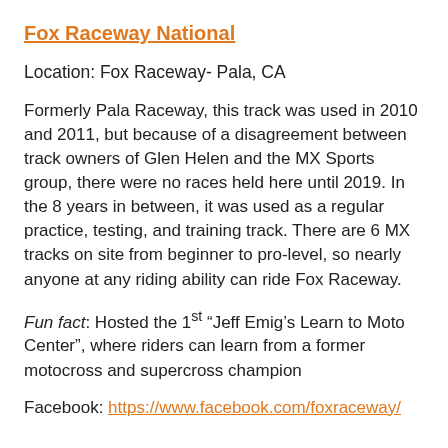Fox Raceway National
Location: Fox Raceway- Pala, CA
Formerly Pala Raceway, this track was used in 2010 and 2011, but because of a disagreement between track owners of Glen Helen and the MX Sports group, there were no races held here until 2019. In the 8 years in between, it was used as a regular practice, testing, and training track. There are 6 MX tracks on site from beginner to pro-level, so nearly anyone at any riding ability can ride Fox Raceway.
Fun fact: Hosted the 1st “Jeff Emig’s Learn to Moto Center”, where riders can learn from a former motocross and supercross champion
Facebook: https://www.facebook.com/foxraceway/